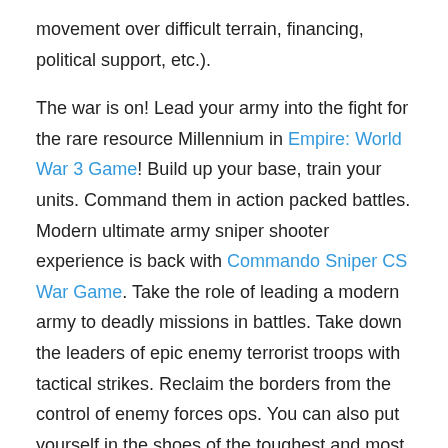movement over difficult terrain, financing, political support, etc.).
The war is on! Lead your army into the fight for the rare resource Millennium in Empire: World War 3 Game! Build up your base, train your units. Command them in action packed battles. Modern ultimate army sniper shooter experience is back with Commando Sniper CS War Game. Take the role of leading a modern army to deadly missions in battles. Take down the leaders of epic enemy terrorist troops with tactical strikes. Reclaim the borders from the control of enemy forces ops. You can also put yourself in the shoes of the toughest and most feared commander in the history in Top War Online Game. Prepare to fiercely lead of a powerful army in order to free your people from oppression once and for all.